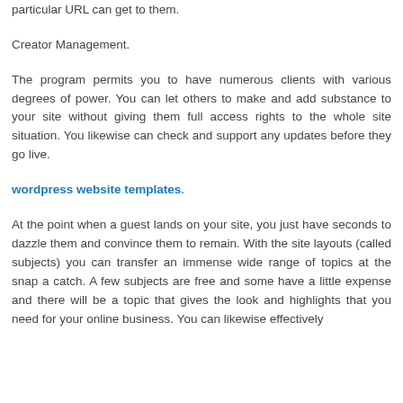makes client created content as perusers' remarks. Updates can be planned for advance so that pages can go live at a pre-decided time and you can make certain pages private so just your clients with the particular URL can get to them.
Creator Management.
The program permits you to have numerous clients with various degrees of power. You can let others to make and add substance to your site without giving them full access rights to the whole site situation. You likewise can check and support any updates before they go live.
wordpress website templates.
At the point when a guest lands on your site, you just have seconds to dazzle them and convince them to remain. With the site layouts (called subjects) you can transfer an immense wide range of topics at the snap a catch. A few subjects are free and some have a little expense and there will be a topic that gives the look and highlights that you need for your online business. You can likewise effectively